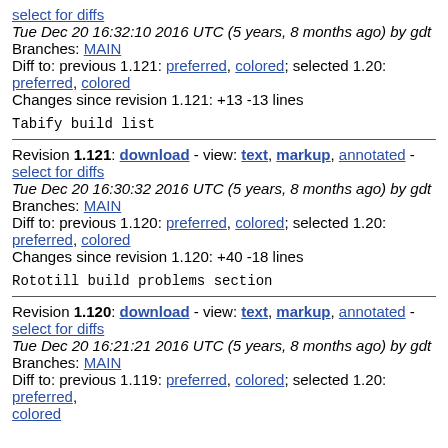select for diffs
Tue Dec 20 16:32:10 2016 UTC (5 years, 8 months ago) by gdt
Branches: MAIN
Diff to: previous 1.121: preferred, colored; selected 1.20: preferred, colored
Changes since revision 1.121: +13 -13 lines
Tabify build list
Revision 1.121: download - view: text, markup, annotated - select for diffs
Tue Dec 20 16:30:32 2016 UTC (5 years, 8 months ago) by gdt
Branches: MAIN
Diff to: previous 1.120: preferred, colored; selected 1.20: preferred, colored
Changes since revision 1.120: +40 -18 lines
Rototill build problems section
Revision 1.120: download - view: text, markup, annotated - select for diffs
Tue Dec 20 16:21:21 2016 UTC (5 years, 8 months ago) by gdt
Branches: MAIN
Diff to: previous 1.119: preferred, colored; selected 1.20: preferred, colored